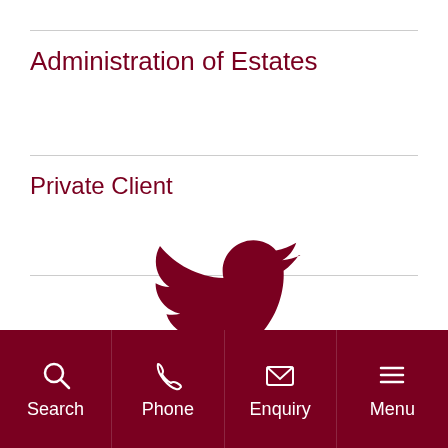Administration of Estates
Private Client
[Figure (logo): Twitter bird logo icon in dark red/maroon color]
Search | Phone | Enquiry | Menu